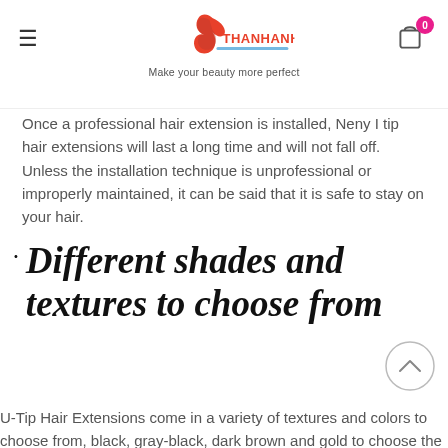THANHANHAIR.COM — Make your beauty more perfect
Once a professional hair extension is installed, Nemy I tip hair extensions will last a long time and will not fall off. Unless the installation technique is unprofessional or improperly maintained, it can be said that it is safe to stay on your hair.
Different shades and textures to choose from
U-Tip Hair Extensions come in a variety of textures and colors to choose from, black, gray-black, dark brown and gold to choose the hair color that suits you best. When choosing a hair color, in order to